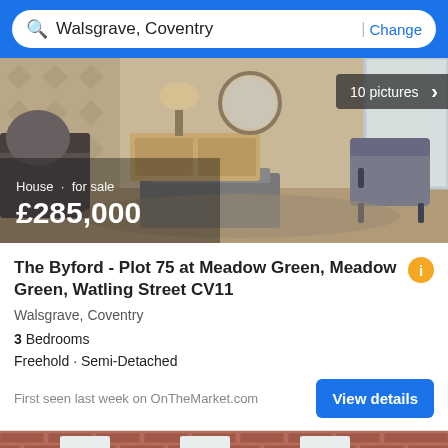Walsgrave, Coventry | Change
[Figure (photo): Interior photo of a modern living room with sofa, coffee table, armchair, sideboard, mirror and lamp. Overlay text shows 'House · for sale £285,000' and '10 pictures' badge.]
The Byford - Plot 75 at Meadow Green, Meadow Green, Watling Street CV11
Walsgrave, Coventry
3 Bedrooms
Freehold · Semi-Detached
First seen last week on OnTheMarket.com
[Figure (photo): Partial view of a brick house exterior with red brick facade and white window frames, partially visible at the bottom of the page.]